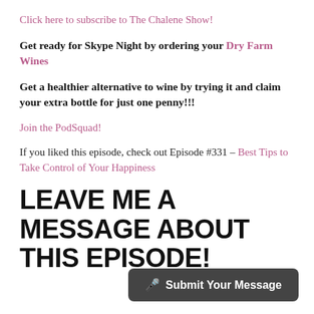Click here to subscribe to The Chalene Show!
Get ready for Skype Night by ordering your Dry Farm Wines
Get a healthier alternative to wine by trying it and claim your extra bottle for just one penny!!!
Join the PodSquad!
If you liked this episode, check out Episode #331 – Best Tips to Take Control of Your Happiness
LEAVE ME A MESSAGE ABOUT THIS EPISODE!
🎤 Submit Your Message